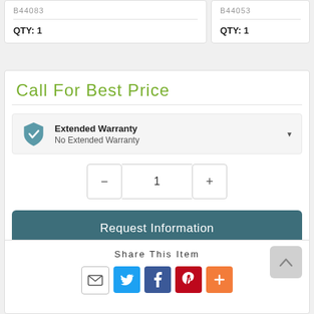B44083
QTY: 1
B44053
QTY: 1
Call For Best Price
Extended Warranty
No Extended Warranty
1
Request Information
Share This Item